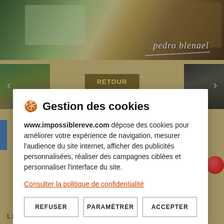[Figure (photo): Website banner with nature/forest background and handwritten text 'pedro blenael' in white cursive]
[Figure (screenshot): Website navigation area with left and right thumbnail images, RETOUR button in center]
🍪 Gestion des cookies
www.impossiblereve.com dépose des cookies pour améliorer votre expérience de navigation, mesurer l'audience du site internet, afficher des publicités personnalisées, réaliser des campagnes ciblées et personnaliser l'interface du site.
Consulter la politique de confidentialité
REFUSER
PARAMÉTRER
ACCEPTER
LES MOTS SONT SONS